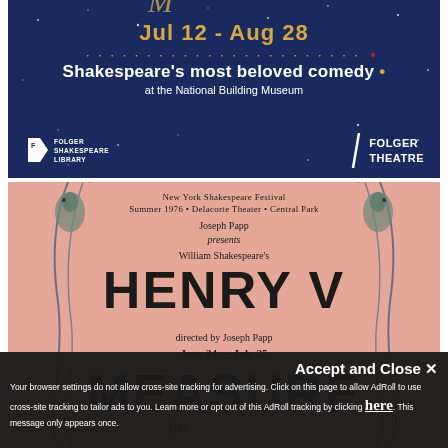[Figure (illustration): Folger Theatre advertisement banner with dark blue starry night background showing 'Jul 12 - Aug 28', 'Shakespeare's most beloved comedy at the National Building Museum', with Folger Shakespeare Library and Folger Theatre logos.]
[Figure (illustration): New York Shakespeare Festival 1976 program poster on pink/salmon background. Shows 'New York Shakespeare Festival, Summer 1976 • Delacorte Theater • Central Park, Joseph Papp presents William Shakespeare's HENRY V directed by Joseph Papp, June 24 – July 25' and 'MEASURE' text below with artistic border artwork.]
Accept and Close ✕
Your browser settings do not allow cross-site tracking for advertising. Click on this page to allow AdRoll to use cross-site tracking to tailor ads to you. Learn more or opt out of this AdRoll tracking by clicking here. This message only appears once.